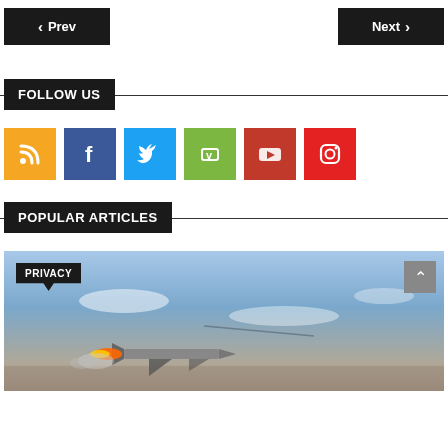< Prev   Next >
FOLLOW US
[Figure (infographic): Six social media icon buttons in colored squares: RSS (orange), Facebook (dark blue), Twitter (light blue), Vimeo (green), YouTube (dark red), Instagram (red)]
POPULAR ARTICLES
[Figure (photo): A photo showing an aircraft or missile launch scene with blue sky and rocket/missile visible, with a PRIVACY badge overlay and a back-to-top arrow button.]